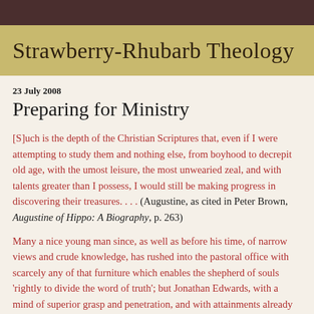Strawberry-Rhubarb Theology
Preparing for Ministry
23 July 2008
[S]uch is the depth of the Christian Scriptures that, even if I were attempting to study them and nothing else, from boyhood to decrepit old age, with the umost leisure, the most unwearied zeal, and with talents greater than I possess, I would still be making progress in discovering their treasures. . . . (Augustine, as cited in Peter Brown, Augustine of Hippo: A Biography, p. 263)
Many a nice young man since, as well as before his time, of narrow views and crude knowledge, has rushed into the pastoral office with scarcely any of that furniture which enables the shepherd of souls ‘rightly to divide the word of truth’; but Jonathan Edwards, with a mind of superior grasp and penetration, and with attainments already greater than common, did not think three full years of diligent professional study enough to prepare him for the